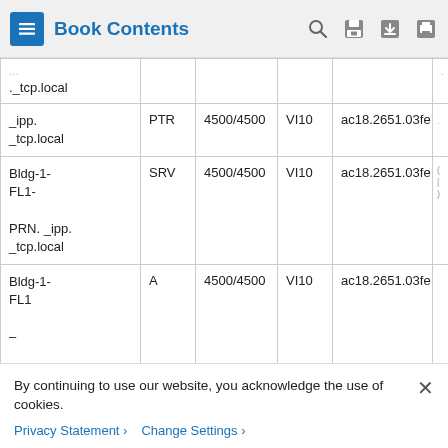Book Contents
| ._tcp.local |  |  |  |  |  |
| _ipp._tcp.local | PTR | 4500/4500 | VI10 | ac18.2651.03fe |  |
| Bldg-1-FL1-PRN._ipp._tcp.local | SRV | 4500/4500 | VI10 | ac18.2651.03fe |  |
| Bldg-1-FL1-PRN.local | A | 4500/4500 | VI10 | ac18.2651.03fe |  |
By continuing to use our website, you acknowledge the use of cookies.
Privacy Statement › Change Settings ›